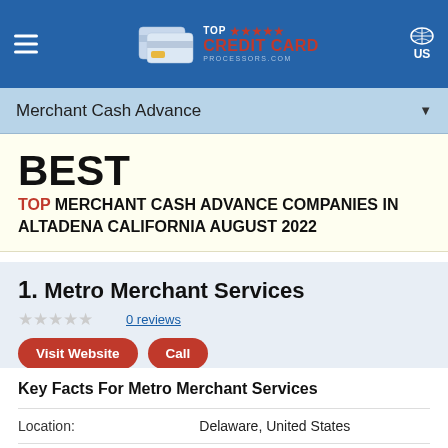TOP ★★★★★ CREDIT CARD PROCESSORS.COM — US
Merchant Cash Advance
BEST TOP MERCHANT CASH ADVANCE COMPANIES IN ALTADENA CALIFORNIA AUGUST 2022
1. Metro Merchant Services
0 reviews
Visit Website   Call
Key Facts For Metro Merchant Services
|  |  |
| --- | --- |
| Location: | Delaware, United States |
| Services: | Merchant Services |